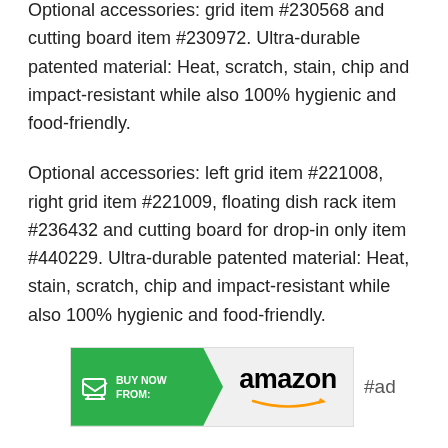Optional accessories: grid item #230568 and cutting board item #230972. Ultra-durable patented material: Heat, scratch, stain, chip and impact-resistant while also 100% hygienic and food-friendly.
Optional accessories: left grid item #221008, right grid item #221009, floating dish rack item #236432 and cutting board for drop-in only item #440229. Ultra-durable patented material: Heat, stain, scratch, chip and impact-resistant while also 100% hygienic and food-friendly.
[Figure (other): Buy Now From Amazon banner ad with green arrow button and Amazon logo with orange swoosh arrow, followed by #ad label]